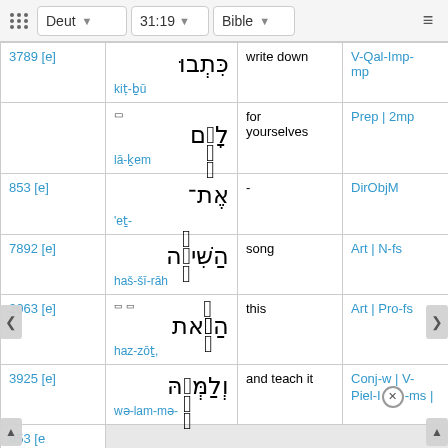Deut 31:19 Bible
|  | Hebrew | English | Grammar |
| --- | --- | --- | --- |
| 3789 [e] | כִּתְבוּ / kiṭ-ḇū | write down | V-Qal-Imp-mp |
|  | לָכֶם / lā-ḵem | for yourselves | Prep | 2mp |
| 853 [e] | אֶת־ / 'eṯ- | - | DirObjM |
| 7892 [e] | הַשִּׁירָה / haš-šī-rāh | song | Art | N-fs |
| 2063 [e] | הַזֹּאת / haz-zōṯ, | this | Art | Pro-fs |
| 3925 [e] | וְלַמְּ֗דָהּ / wə-lam-mə- | and teach it | Conj-w | V-Piel-Im-ms | |
| 853 [e] |  |  |  |